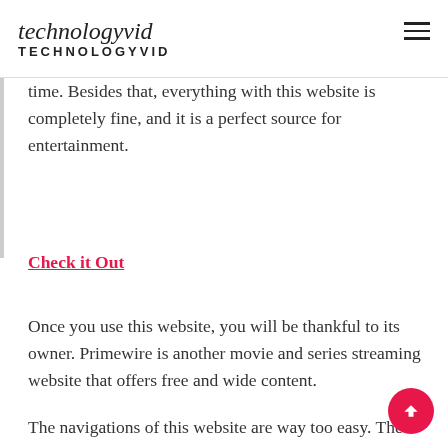technologyvid TECHNOLOGYVID
time. Besides that, everything with this website is completely fine, and it is a perfect source for entertainment.
Check it Out
Once you use this website, you will be thankful to its owner. Primewire is another movie and series streaming website that offers free and wide content.
The navigations of this website are way too easy. The home page displays only the search bar, and you get the filter and suggestions option after selecting them from the top corner.